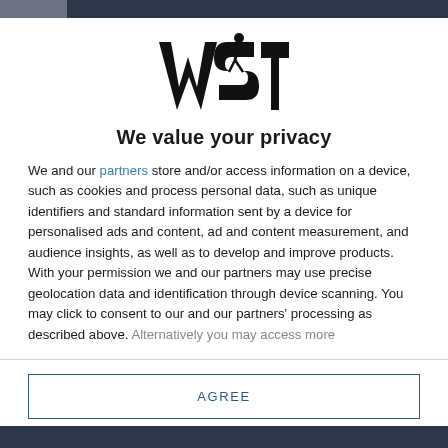[Figure (logo): WST logo - bold stylized letters with a person/athlete figure incorporated]
We value your privacy
We and our partners store and/or access information on a device, such as cookies and process personal data, such as unique identifiers and standard information sent by a device for personalised ads and content, ad and content measurement, and audience insights, as well as to develop and improve products. With your permission we and our partners may use precise geolocation data and identification through device scanning. You may click to consent to our and our partners' processing as described above. Alternatively you may access more
AGREE
MORE OPTIONS